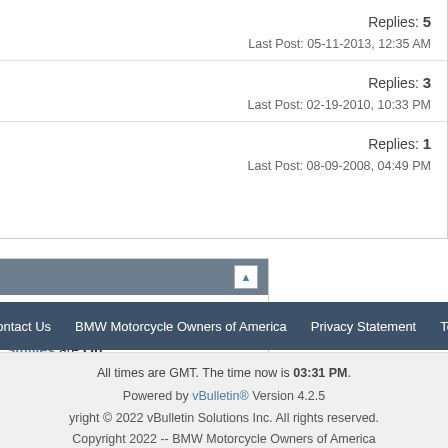T model — Replies: 5, Last Post: 05-11-2013, 12:35 AM
Model — Replies: 3, Last Post: 02-19-2010, 10:33 PM
Replies: 1, Last Post: 08-09-2008, 04:49 PM
BB code is On | Smilies are On | [IMG] code is On | [VIDEO] code is On | HTML code is On
Forum Rules
Contact Us  BMW Motorcycle Owners of America  Privacy Statement  Top
All times are GMT. The time now is 03:31 PM. Powered by vBulletin® Version 4.2.5 Copyright © 2022 vBulletin Solutions Inc. All rights reserved. Copyright 2022 -- BMW Motorcycle Owners of America